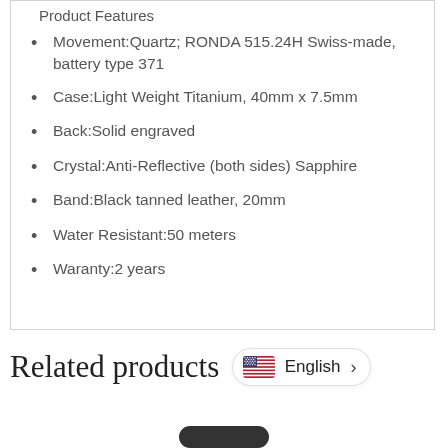Product Features
Movement:Quartz; RONDA 515.24H Swiss-made, battery type 371
Case:Light Weight Titanium, 40mm x 7.5mm
Back:Solid engraved
Crystal:Anti-Reflective (both sides) Sapphire
Band:Black tanned leather, 20mm
Water Resistant:50 meters
Waranty:2 years
Related products
English